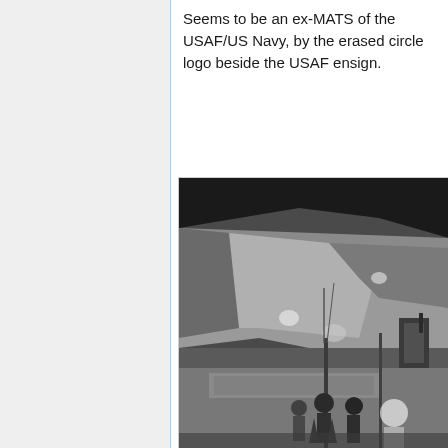Seems to be an ex-MATS of the USAF/US Navy, by the erased circle logo beside the USAF ensign.
[Figure (photo): Black and white photograph showing the interior/underside of a large aircraft, with fabric or canvas visible, lighting fixtures, and people visible in the lower portion of the image.]